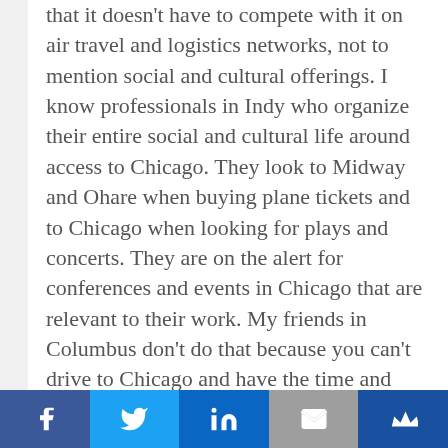that it doesn't have to compete with it on air travel and logistics networks, not to mention social and cultural offerings. I know professionals in Indy who organize their entire social and cultural life around access to Chicago. They look to Midway and Ohare when buying plane tickets and to Chicago when looking for plays and concerts. They are on the alert for conferences and events in Chicago that are relevant to their work. My friends in Columbus don't do that because you can't drive to Chicago and have the time and energy to participate in such events in a day while flying, even if just a short one, makes everything much more complicated.
Social share bar: Facebook, Twitter, LinkedIn, Email, Crown